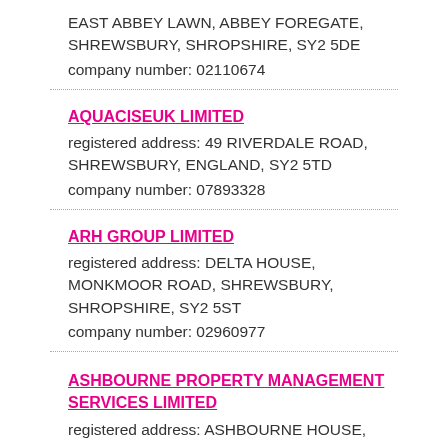EAST ABBEY LAWN, ABBEY FOREGATE, SHREWSBURY, SHROPSHIRE, SY2 5DE
company number: 02110674
AQUACISEUK LIMITED
registered address: 49 RIVERDALE ROAD, SHREWSBURY, ENGLAND, SY2 5TD
company number: 07893328
ARH GROUP LIMITED
registered address: DELTA HOUSE, MONKMOOR ROAD, SHREWSBURY, SHROPSHIRE, SY2 5ST
company number: 02960977
ASHBOURNE PROPERTY MANAGEMENT SERVICES LIMITED
registered address: ASHBOURNE HOUSE, MONKMOOR ROAD, SHREWSBURY, SHROPSHIRE, UNITED KINGDOM, SY2 5AP